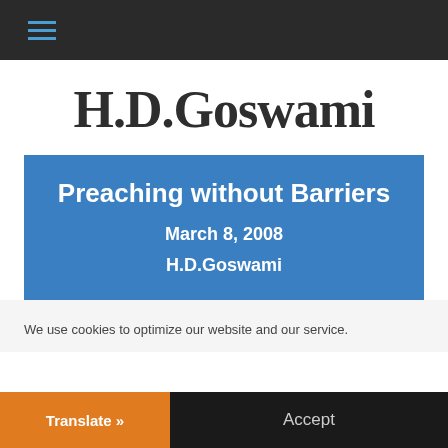≡
H.D.Goswami
Preaching without Barriers
March 8, 2008
H.D.Goswami
We use cookies to optimize our website and our service.
Translate »
Accept